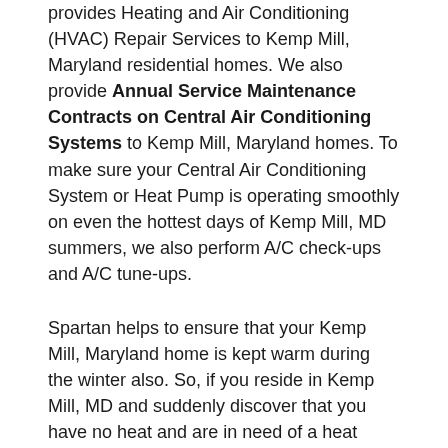provides Heating and Air Conditioning (HVAC) Repair Services to Kemp Mill, Maryland residential homes. We also provide Annual Service Maintenance Contracts on Central Air Conditioning Systems to Kemp Mill, Maryland homes. To make sure your Central Air Conditioning System or Heat Pump is operating smoothly on even the hottest days of Kemp Mill, MD summers, we also perform A/C check-ups and A/C tune-ups.
Spartan helps to ensure that your Kemp Mill, Maryland home is kept warm during the winter also. So, if you reside in Kemp Mill, MD and suddenly discover that you have no heat and are in need of a heat repair specialist, call us. With Spartan as part of your community, there is never a need for your Kemp Mill, MD home to be with no heat and in need of heat repair in the dead of winter. Spartan does Annual Service Maintenance Contracts for Heating Systems